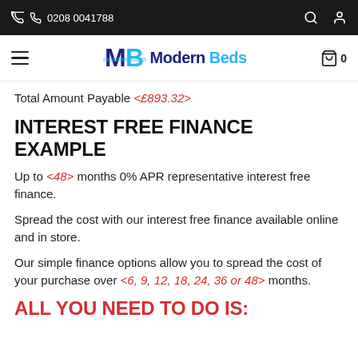0208 0041788
[Figure (logo): Modern Beds logo with MB monogram in dark blue and light blue]
Total Amount Payable <£893.32>
INTEREST FREE FINANCE EXAMPLE
Up to <48> months 0% APR representative interest free finance.
Spread the cost with our interest free finance available online and in store.
Our simple finance options allow you to spread the cost of your purchase over <6, 9, 12, 18, 24, 36 or 48> months.
ALL YOU NEED TO DO IS: